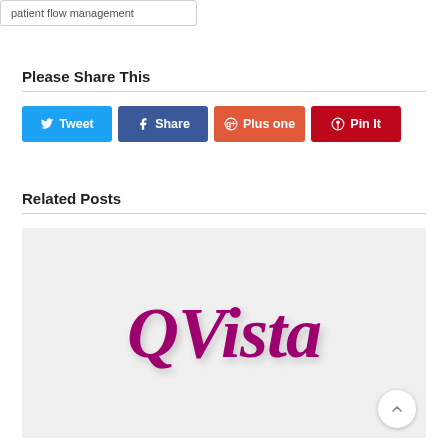patient flow management
Please Share This
[Figure (infographic): Social share buttons: Tweet (Twitter/blue), Share (Facebook/dark blue), Plus one (Google+/orange-red), Pin It (Pinterest/red)]
Related Posts
[Figure (logo): QVista logo in dark magenta/purple italic script on light grey background]